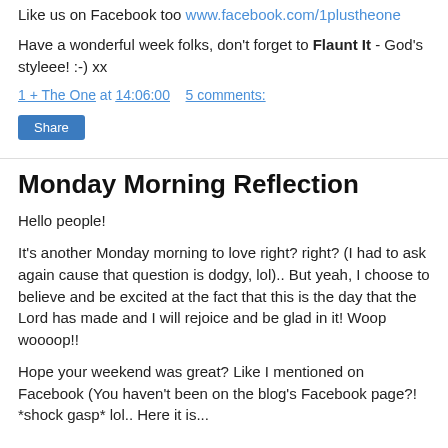Like us on Facebook too www.facebook.com/1plustheone
Have a wonderful week folks, don't forget to Flaunt It - God's styleee! :-) xx
1 + The One at 14:06:00    5 comments:
Share
Monday Morning Reflection
Hello people!
It's another Monday morning to love right? right? (I had to ask again cause that question is dodgy, lol).. But yeah, I choose to believe and be excited at the fact that this is the day that the Lord has made and I will rejoice and be glad in it! Woop woooop!!
Hope your weekend was great? Like I mentioned on Facebook (You haven't been on the blog's Facebook page?! *shock gasp* lol.. Here it is...